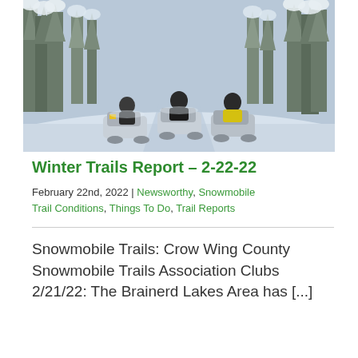[Figure (photo): Three snowmobilers riding on a snow-covered trail surrounded by snow-laden pine trees in winter.]
Winter Trails Report – 2-22-22
February 22nd, 2022 | Newsworthy, Snowmobile Trail Conditions, Things To Do, Trail Reports
Snowmobile Trails: Crow Wing County Snowmobile Trails Association Clubs 2/21/22: The Brainerd Lakes Area has [...]